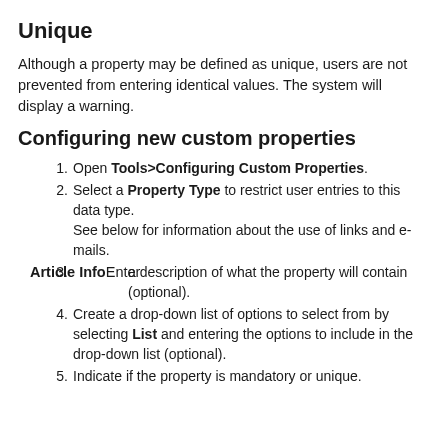Unique
Although a property may be defined as unique, users are not prevented from entering identical values. The system will display a warning.
Configuring new custom properties
Open Tools>Configuring Custom Properties.
Select a Property Type to restrict user entries to this data type.
See below for information about the use of links and e-mails.
Enter a description of what the property will contain (optional).
Create a drop-down list of options to select from by selecting List and entering the options to include in the drop-down list (optional).
Indicate if the property is mandatory or unique.